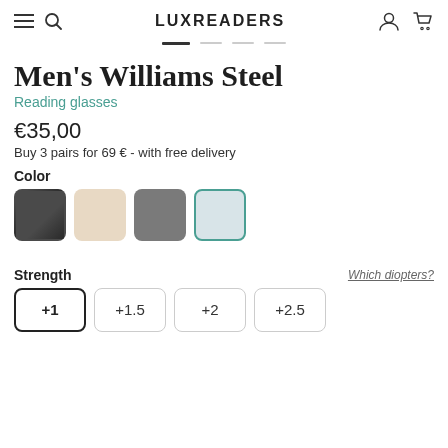LUXREADERS
Men's Williams Steel
Reading glasses
€35,00
Buy 3 pairs for 69 € - with free delivery
Color
[Figure (illustration): Four color swatches: dark charcoal, beige/cream, medium gray, light blue-gray (selected with teal border)]
Strength
Which diopters?
+1  +1.5  +2  +2.5